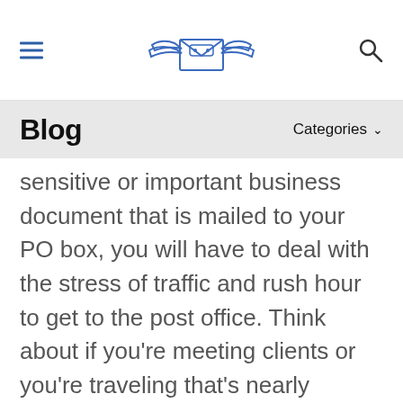[Navigation header with hamburger menu, winged envelope logo, and search icon]
Blog    Categories
sensitive or important business document that is mailed to your PO box, you will have to deal with the stress of traffic and rush hour to get to the post office. Think about if you're meeting clients or you're traveling that's nearly impossible to manage your important mail and packages.
Secondly, using a PO box address means you